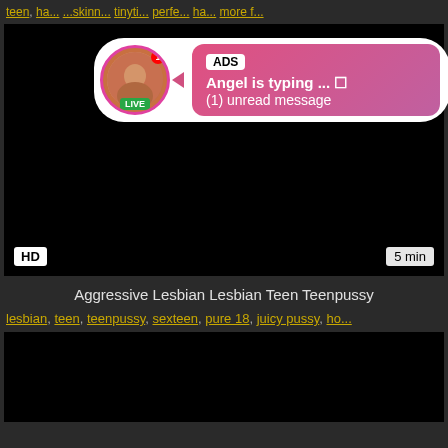teen, ha... more f....
[Figure (screenshot): Black video thumbnail with HD badge bottom-left and 5 min badge bottom-right, with an ad popup overlay showing 'ADS Angel is typing ... (1) unread message']
Aggressive Lesbian Lesbian Teen Teenpussy
lesbian, teen, teenpussy, sexteen, pure 18, juicy pussy, ho...
[Figure (screenshot): Black video thumbnail at bottom of page]